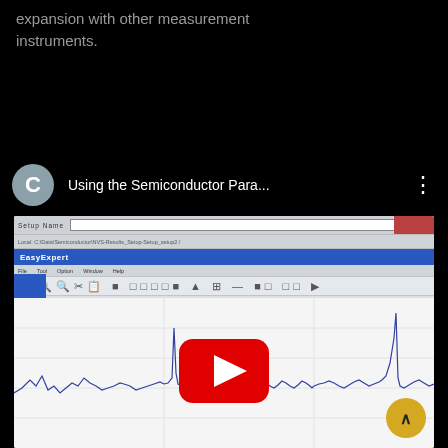expansion with other measurement instruments.
[Figure (screenshot): YouTube video card showing a user avatar circle with letter C, video title 'Using the Semiconductor Para...' and a three-dot menu icon]
[Figure (screenshot): YouTube embedded video thumbnail showing a semiconductor parameter analyzer software (EasyExpert) running on a PC, with a graph of measurement data visible in the lower portion, overlaid with a red YouTube play button. A yellow scroll-up FAB button is visible in the bottom-right corner.]